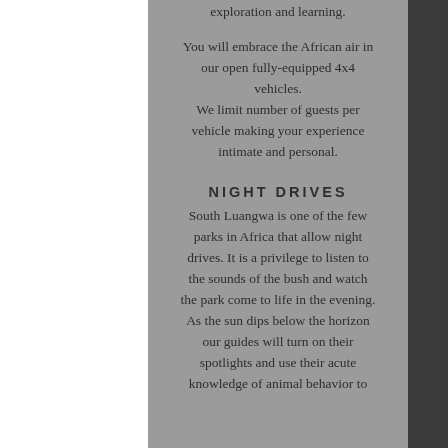exploration and learning.
You will embrace the African air in our open fully-equipped 4x4 vehicles. We limit number of guests per vehicle making your experience intimate and personal.
NIGHT DRIVES
South Luangwa is one of the few parks in Africa that allow night drives. It is a privilege to listen to the sounds of the bush and watch the park come to life in the evening. As the sun dips below the horizon our guides will turn on their spotlights and use their acute knowledge of animal behavior to